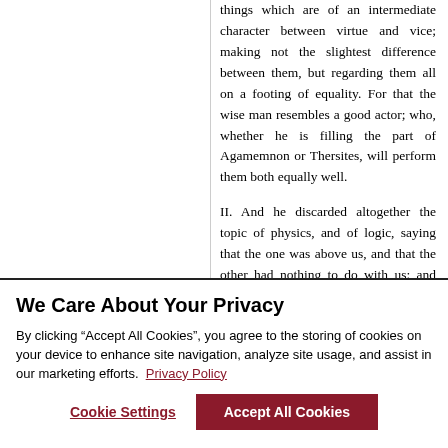things which are of an intermediate character between virtue and vice; making not the slightest difference between them, but regarding them all on a footing of equality. For that the wise man resembles a good actor; who, whether he is filling the part of Agamemnon or Thersites, will perform them both equally well.
II. And he discarded altogether the topic of physics, and of logic, saying that the one was above us, and that the other had nothing to do with us; and that the only branch of philosophy with which we had any real concern was ethics.
We Care About Your Privacy
By clicking “Accept All Cookies”, you agree to the storing of cookies on your device to enhance site navigation, analyze site usage, and assist in our marketing efforts. Privacy Policy